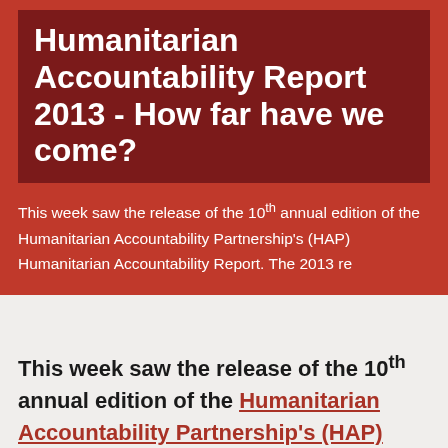Humanitarian Accountability Report 2013 - How far have we come?
This week saw the release of the 10th annual edition of the Humanitarian Accountability Partnership's (HAP) Humanitarian Accountability Report. The 2013 re
This week saw the release of the 10th annual edition of the Humanitarian Accountability Partnership's (HAP) Humanitarian Accountability Report.